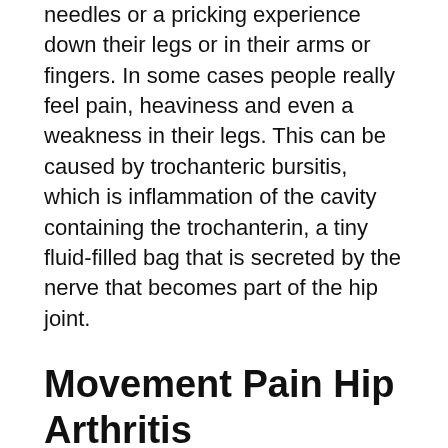needles or a pricking experience down their legs or in their arms or fingers. In some cases people really feel pain, heaviness and even a weakness in their legs. This can be caused by trochanteric bursitis, which is inflammation of the cavity containing the trochanterin, a tiny fluid-filled bag that is secreted by the nerve that becomes part of the hip joint.
Movement Pain Hip Arthritis
There are numerous stretches that will help alleviate this issue. The most common go for the hips is the feline stretch. It is called this since it goes from the hip to the ball of the foot. An additional stretch involves lying on your back with your knees up and also a fist